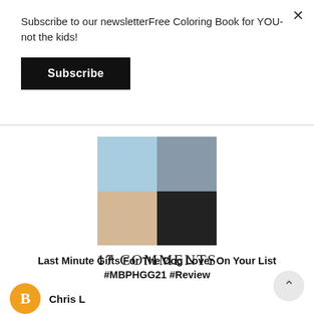Subscribe to our newsletterFree Coloring Book for YOU- not the kids!
Subscribe
[Figure (photo): Collage of dog-themed gift items including a 'Dog is Good' patch, a grey t-shirt, dog bones, dog treats, and a 'Bow Wow' holiday hat item]
Last Minute Gifts For The Dog Lover On Your List #MBPHGG21 #Review
17 COMMENTS
Chris L